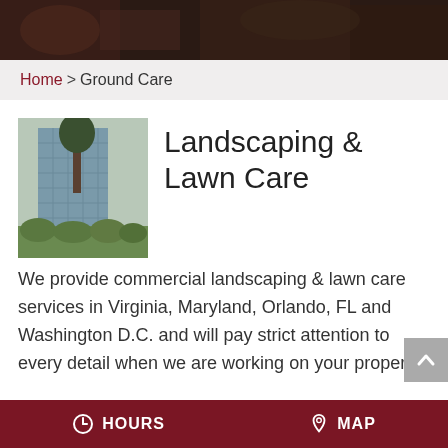[Figure (photo): Dark brownish-red textured background photo bar at the top of the page]
Home > Ground Care
Landscaping & Lawn Care
[Figure (photo): Photo of a commercial building with glass facade and trees/shrubs in the foreground]
We provide commercial landscaping & lawn care services in Virginia, Maryland, Orlando, FL and Washington D.C. and will pay strict attention to every detail when we are working on your property.
Read More
HOURS   MAP